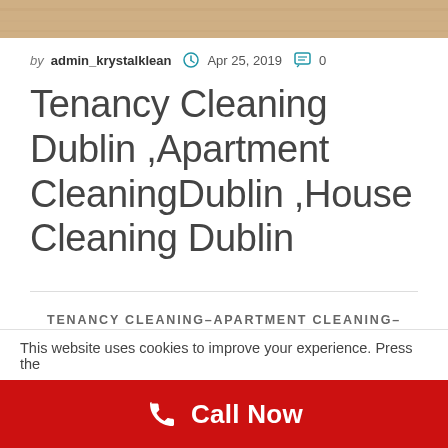[Figure (photo): Partial photo strip at the top of the page showing a floor/surface texture in warm beige/brown tones]
by admin_krystalklean  Apr 25, 2019  0
Tenancy Cleaning Dublin ,Apartment CleaningDublin ,House Cleaning Dublin
TENANCY CLEANING–APARTMENT CLEANING– HOUSE CLEANING
This website uses cookies to improve your experience. Press the
Call Now